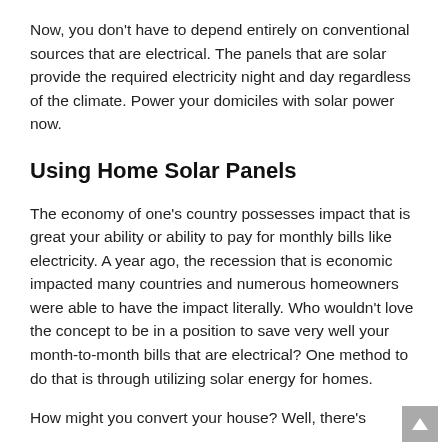Now, you don't have to depend entirely on conventional sources that are electrical. The panels that are solar provide the required electricity night and day regardless of the climate. Power your domiciles with solar power now.
Using Home Solar Panels
The economy of one's country possesses impact that is great your ability or ability to pay for monthly bills like electricity. A year ago, the recession that is economic impacted many countries and numerous homeowners were able to have the impact literally. Who wouldn't love the concept to be in a position to save very well your month-to-month bills that are electrical? One method to do that is through utilizing solar energy for homes.
How might you convert your house? Well, there's